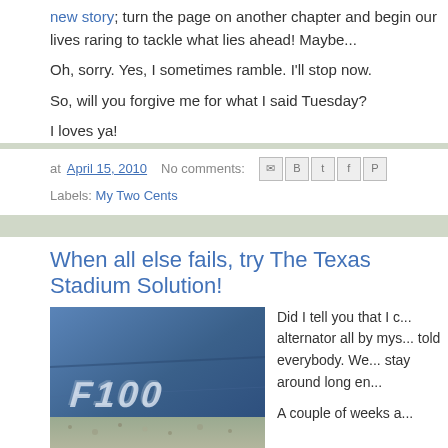new story; turn the page on another chapter and begin our lives raring to tackle what lies ahead! Maybe...
Oh, sorry. Yes, I sometimes ramble. I'll stop now.
So, will you forgive me for what I said Tuesday?
I loves ya!
at April 15, 2010    No comments:
Labels: My Two Cents
When all else fails, try The Texas Stadium Solution!
[Figure (photo): Close-up photo of a blue Ford F100 truck badge/emblem on the vehicle body with gravel ground visible below]
Did I tell you that I c... alternator all by mys... told everybody. We... stay around long en...
A couple of weeks a...